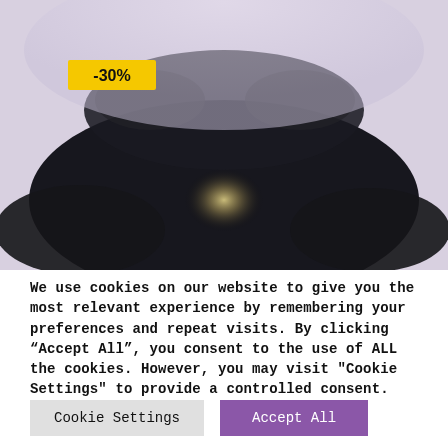[Figure (photo): A blurred/dark product photo (appears to be a dark object like a car or speaker on a light lavender background) with a yellow badge in the upper-left corner showing '-30%']
We use cookies on our website to give you the most relevant experience by remembering your preferences and repeat visits. By clicking “Accept All”, you consent to the use of ALL the cookies. However, you may visit "Cookie Settings" to provide a controlled consent.
Cookie Settings   Accept All